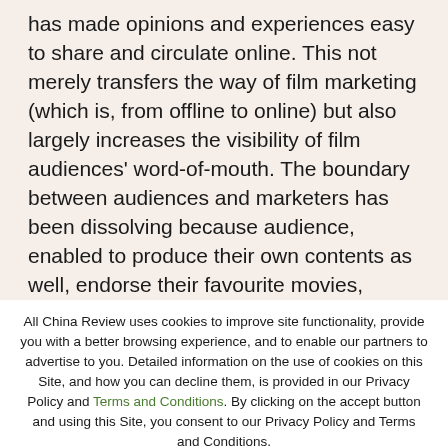has made opinions and experiences easy to share and circulate online. This not merely transfers the way of film marketing (which is, from offline to online) but also largely increases the visibility of film audiences' word-of-mouth. The boundary between audiences and marketers has been dissolving because audience, enabled to produce their own contents as well, endorse their favourite movies, directors, and stars through User-generated Content (UGC) social media represented by
All China Review uses cookies to improve site functionality, provide you with a better browsing experience, and to enable our partners to advertise to you. Detailed information on the use of cookies on this Site, and how you can decline them, is provided in our Privacy Policy and Terms and Conditions. By clicking on the accept button and using this Site, you consent to our Privacy Policy and Terms and Conditions.